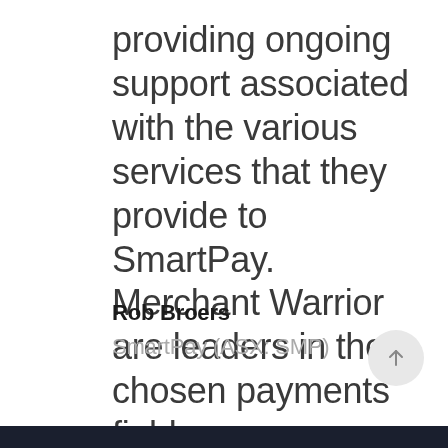providing ongoing support associated with the various services that they provide to SmartPay. Merchant Warrior are leaders in their chosen payments field.
Rob Broers
SmartPay (ASX: SMP)
[Figure (other): Circular scroll-up button with an upward arrow icon]